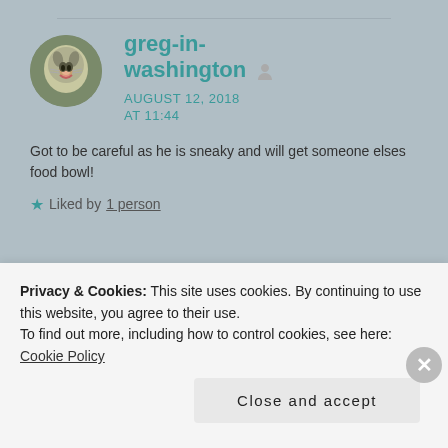[Figure (photo): Circular avatar image of a cat with tongue out, used as user profile photo]
greg-in-washington
AUGUST 12, 2018
AT 11:44
Got to be careful as he is sneaky and will get someone elses food bowl!
★ Liked by 1 person
Privacy & Cookies: This site uses cookies. By continuing to use this website, you agree to their use.
To find out more, including how to control cookies, see here: Cookie Policy
Close and accept